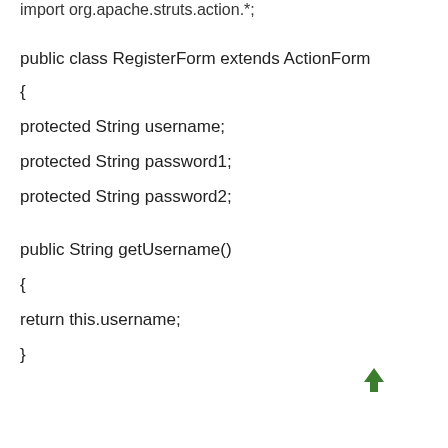import org.apache.struts.action.*;
public class RegisterForm extends ActionForm
{
protected String username;
protected String password1;
protected String password2;

public String getUsername()
{
return this.username;
}